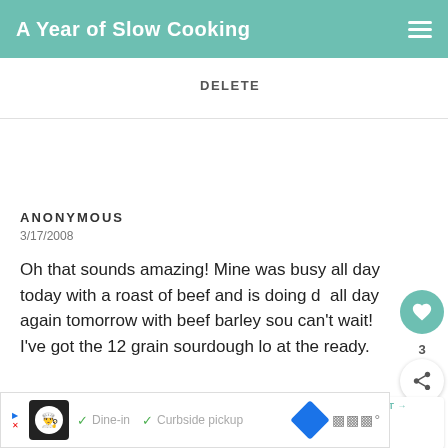A Year of Slow Cooking
DELETE
ANONYMOUS
3/17/2008

Oh that sounds amazing! Mine was busy all day today with a roast of beef and is doing d all day again tomorrow with beef barley sou can't wait! I've got the 12 grain sourdough l at the ready.
WHAT'S NEXT → CrockPot Bread...
DELETE
[Figure (screenshot): Ad banner with restaurant logo, checkmarks for Dine-in and Curbside pickup, blue diamond navigation icon, and WW logo]